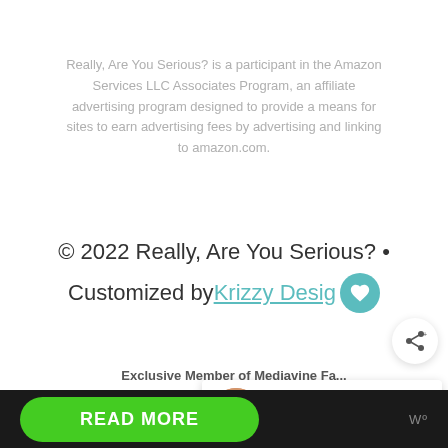Really, Are You Serious? is a participant in the Amazon Services LLC Associates Program, an affiliate advertising program designed to provide a means for sites to earn advertising fees by advertising and linking to amazon.com.
© 2022 Really, Are You Serious? • Customized by Krizzy Designs
Exclusive Member of Mediavine Fa...
WHAT'S NEXT → Nope, not a diva at all |...
READ MORE